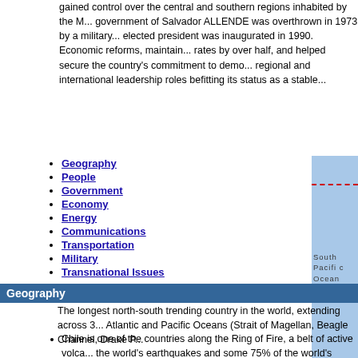gained control over the central and southern regions inhabited by the M... government of Salvador ALLENDE was overthrown in 1973 by a military... elected president was inaugurated in 1990. Economic reforms, maintain... rates by over half, and helped secure the country's commitment to demo... regional and international leadership roles befitting its status as a stable...
Geography
People
Government
Economy
Energy
Communications
Transportation
Military
Transnational Issues
[Figure (map): Partial Google Maps view showing South Pacific Ocean region near Chile]
Geography
The longest north-south trending country in the world, extending across 3... Atlantic and Pacific Oceans (Strait of Magellan, Beagle Channel, Drake P...
Chile is one of the countries along the Ring of Fire, a belt of active volca... the world's earthquakes and some 75% of the world's volcanoes occur...
the Atacama Desert - the driest desert in the world - spreads across th...